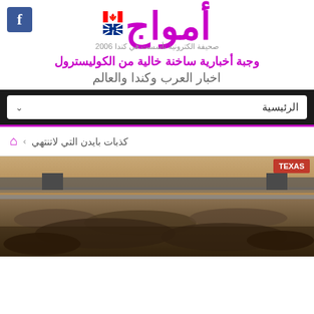[Figure (logo): Facebook icon button, blue square with white f]
أمواج
صحيفة الكترونية تأسست في كندا 2006
وجبة أخبارية ساخنة خالية من الكوليسترول
اخبار العرب وكندا والعالم
الرئيسية
كذبات بايدن التي لاتنتهي
[Figure (photo): Aerial photo of large crowd of migrants under a bridge near the Texas border, with TEXAS badge overlay in top right]